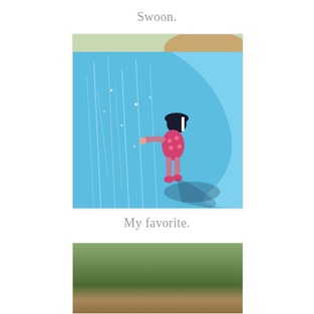Swoon.
[Figure (photo): A young child in a pink floral swimsuit and dark hat playing at an outdoor splash pad/water feature. The child is walking through water jets spraying up from a blue paved surface. The shadow of the child is visible on the ground. Trees and sandy area visible in the background.]
My favorite.
[Figure (photo): Bottom portion of another outdoor photo, partially visible, showing green trees/foliage and ground.]